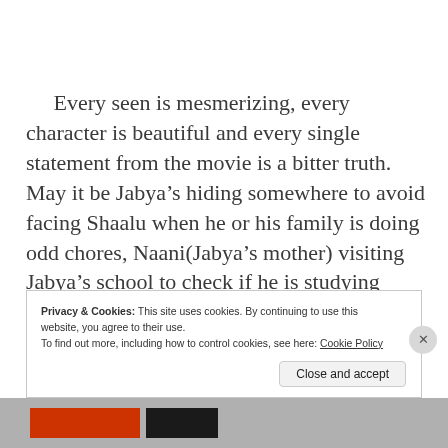Every seen is mesmerizing, every character is beautiful and every single statement from the movie is a bitter truth. May it be Jabya’s hiding somewhere to avoid facing Shaalu when he or his family is doing odd chores, Naani(Jabya’s mother) visiting Jabya’s school to check if he is studying properly, Jabya’s father humbly
Privacy & Cookies: This site uses cookies. By continuing to use this website, you agree to their use.
To find out more, including how to control cookies, see here: Cookie Policy